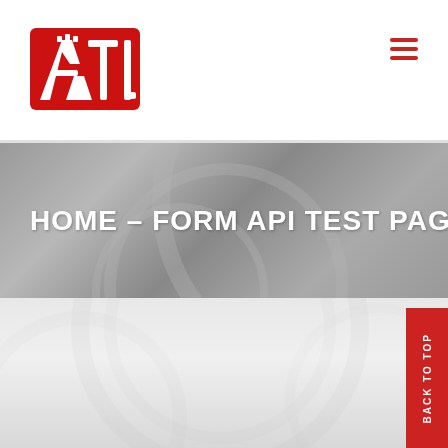[Figure (logo): ATL logo in red with stylized letters and teeth-like detail on the A]
[Figure (other): Hamburger menu icon with three red horizontal lines]
HOME – FORM API TEST PAGE
[Figure (other): BACK TO TOP vertical red button on the right side]